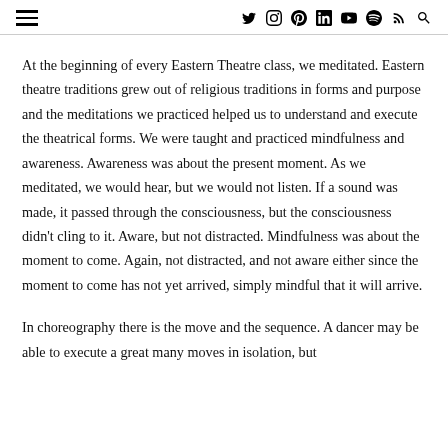Navigation header with hamburger menu and social icons (Twitter, Instagram, Pinterest, LinkedIn, YouTube, Spotify, RSS, Search)
At the beginning of every Eastern Theatre class, we meditated. Eastern theatre traditions grew out of religious traditions in forms and purpose and the meditations we practiced helped us to understand and execute the theatrical forms. We were taught and practiced mindfulness and awareness. Awareness was about the present moment. As we meditated, we would hear, but we would not listen. If a sound was made, it passed through the consciousness, but the consciousness didn't cling to it. Aware, but not distracted. Mindfulness was about the moment to come. Again, not distracted, and not aware either since the moment to come has not yet arrived, simply mindful that it will arrive.
In choreography there is the move and the sequence. A dancer may be able to execute a great many moves in isolation, but